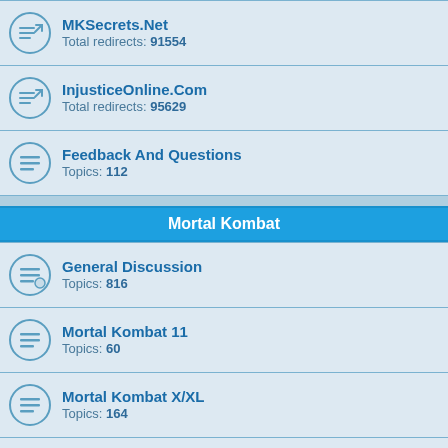MKSecrets.Net — Total redirects: 91554
InjusticeOnline.Com — Total redirects: 95629
Feedback And Questions — Topics: 112
Mortal Kombat
General Discussion — Topics: 816
Mortal Kombat 11 — Topics: 60
Mortal Kombat X/XL — Topics: 164
Mortal Kombat Mobile — Topics: 4
Mortal Kombat 9 (2011) — Topics: 450
All Mortal Kombat Games And Compilations — Topics: 915
Movies And TV Series — Topics: ...